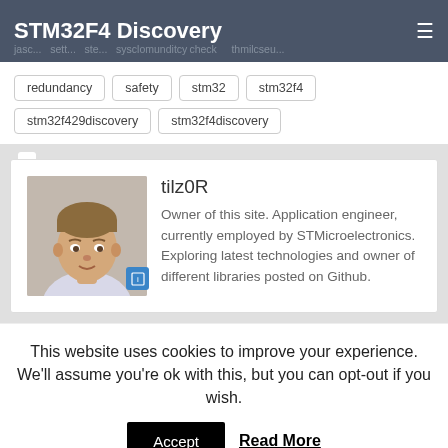STM32F4 Discovery
redundancy
safety
stm32
stm32f4
stm32f429discovery
stm32f4discovery
tilz0R
Owner of this site. Application engineer, currently employed by STMicroelectronics. Exploring latest technologies and owner of different libraries posted on Github.
This website uses cookies to improve your experience. We'll assume you're ok with this, but you can opt-out if you wish.
Accept   Read More